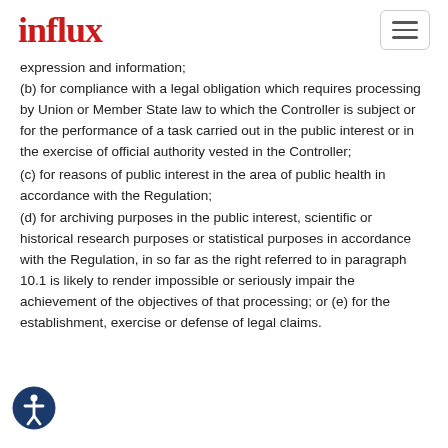influx
expression and information;
(b) for compliance with a legal obligation which requires processing by Union or Member State law to which the Controller is subject or for the performance of a task carried out in the public interest or in the exercise of official authority vested in the Controller;
(c) for reasons of public interest in the area of public health in accordance with the Regulation;
(d) for archiving purposes in the public interest, scientific or historical research purposes or statistical purposes in accordance with the Regulation, in so far as the right referred to in paragraph 10.1 is likely to render impossible or seriously impair the achievement of the objectives of that processing; or (e) for the establishment, exercise or defense of legal claims.